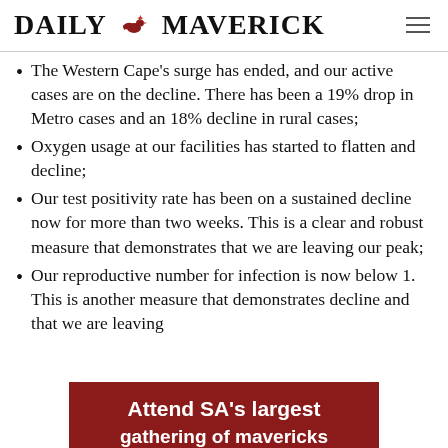DAILY MAVERICK
The Western Cape's surge has ended, and our active cases are on the decline. There has been a 19% drop in Metro cases and an 18% decline in rural cases;
Oxygen usage at our facilities has started to flatten and decline;
Our test positivity rate has been on a sustained decline now for more than two weeks. This is a clear and robust measure that demonstrates that we are leaving our peak;
Our reproductive number for infection is now below 1. This is another measure that demonstrates decline and that we are leaving
[Figure (infographic): Dark red advertisement banner: 'Attend SA's largest gathering of mavericks']